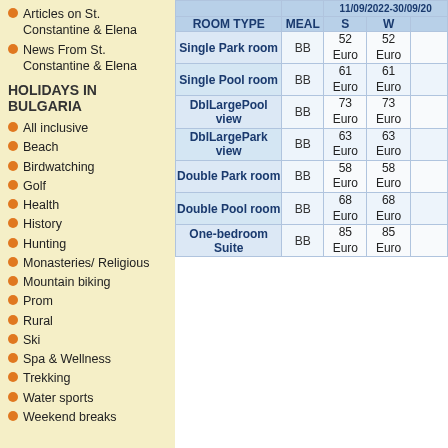Articles on St. Constantine & Elena
News From St. Constantine & Elena
HOLIDAYS IN BULGARIA
All inclusive
Beach
Birdwatching
Golf
Health
History
Hunting
Monasteries/Religious
Mountain biking
Prom
Rural
Ski
Spa & Wellness
Trekking
Water sports
Weekend breaks
| ROOM TYPE | MEAL | S | W |
| --- | --- | --- | --- |
| Single Park room | BB | 52 Euro | 52 Euro |
| Single Pool room | BB | 61 Euro | 61 Euro |
| DblLargePool view | BB | 73 Euro | 73 Euro |
| DblLargePark view | BB | 63 Euro | 63 Euro |
| Double Park room | BB | 58 Euro | 58 Euro |
| Double Pool room | BB | 68 Euro | 68 Euro |
| One-bedroom Suite | BB | 85 Euro | 85 Euro |